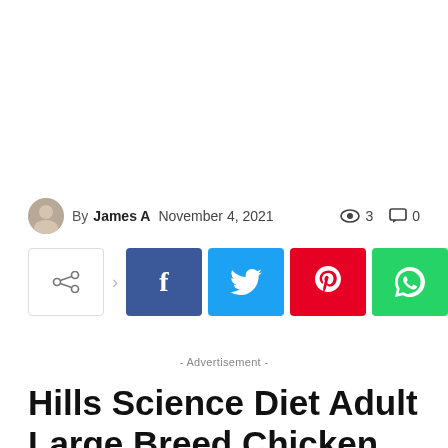By James A  November 4, 2021   👁 3   💬 0
[Figure (infographic): Social share buttons row: share icon button, Facebook, Twitter, Pinterest, WhatsApp]
- Advertisement -
Hills Science Diet Adult Large Breed Chicken And Barley